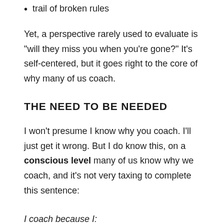trail of broken rules
Yet, a perspective rarely used to evaluate is “will they miss you when you’re gone?” It’s self-centered, but it goes right to the core of why many of us coach.
THE NEED TO BE NEEDED
I won’t presume I know why you coach. I’ll just get it wrong. But I do know this, on a conscious level many of us know why we coach, and it’s not very taxing to complete this sentence:
I coach because I: